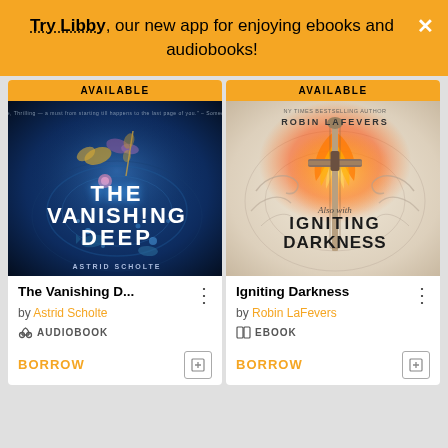Try Libby, our new app for enjoying ebooks and audiobooks!
[Figure (illustration): Book cover: The Vanishing Deep by Astrid Scholte – dark blue ocean/deep sea theme with butterflies and sea creatures]
[Figure (illustration): Book cover: Igniting Darkness by Robin LaFevers – ornate silver/gold with a flaming sword]
The Vanishing D...
by Astrid Scholte
AUDIOBOOK
BORROW
Igniting Darkness
by Robin LaFevers
EBOOK
BORROW